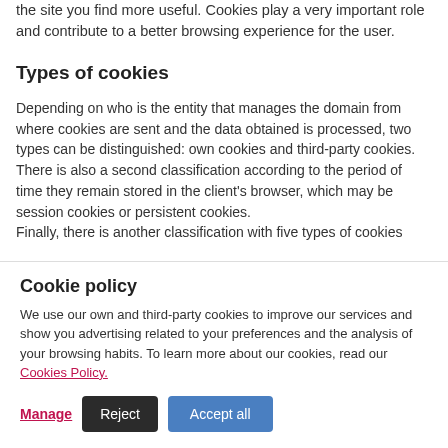the site you find more useful. Cookies play a very important role and contribute to a better browsing experience for the user.
Types of cookies
Depending on who is the entity that manages the domain from where cookies are sent and the data obtained is processed, two types can be distinguished: own cookies and third-party cookies. There is also a second classification according to the period of time they remain stored in the client's browser, which may be session cookies or persistent cookies.
Finally, there is another classification with five types of cookies
Cookie policy
We use our own and third-party cookies to improve our services and show you advertising related to your preferences and the analysis of your browsing habits. To learn more about our cookies, read our Cookies Policy.
Manage
Reject
Accept all